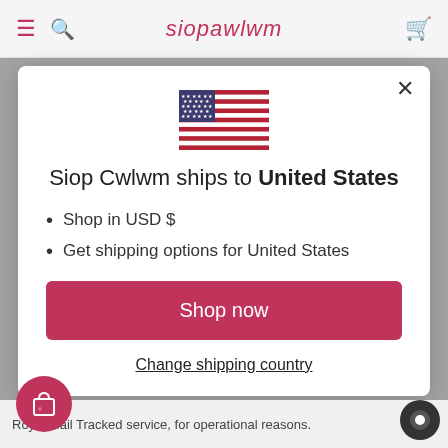siopawlwm
[Figure (illustration): US flag emoji]
Siop Cwlwm ships to United States
Shop in USD $
Get shipping options for United States
Shop now
Change shipping country
Royal Mail Tracked service, for operational reasons.